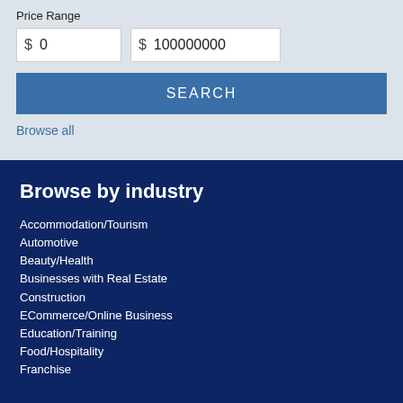Price Range
[Figure (screenshot): Price range input fields with dollar sign and numeric values: 0 and 100000000]
[Figure (screenshot): SEARCH button in blue]
Browse all
Browse by industry
Accommodation/Tourism
Automotive
Beauty/Health
Businesses with Real Estate
Construction
ECommerce/Online Business
Education/Training
Food/Hospitality
Franchise